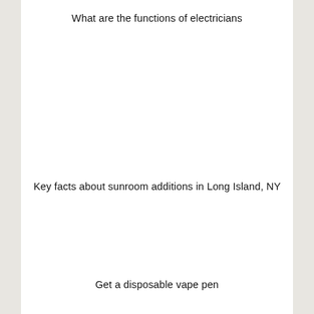What are the functions of electricians
Key facts about sunroom additions in Long Island, NY
Get a disposable vape pen